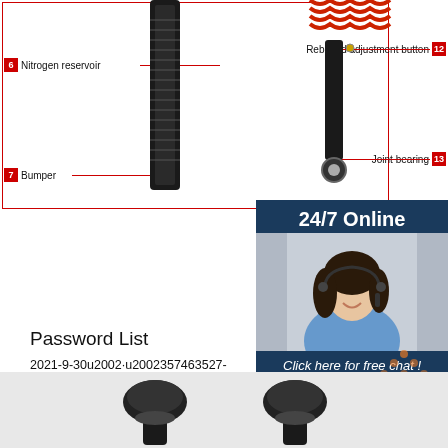[Figure (engineering-diagram): Shock absorber / suspension component diagram with labeled parts: Nitrogen reservoir (6), Bumper (7), Rebound adjustment button (12), Joint bearing (13). Red lines point from labels to component parts. Left component shown in red border box.]
[Figure (illustration): Advertisement sidebar: '24/7 Online' with customer service agent photo, 'Click here for free chat!' text, and orange QUOTATION button.]
Password List
2021-9-30u2002·u20023574635​27-Password-List.p download as PDF File (.pdf), Text File (.txt) or read free.
[Figure (other): Orange 'Get Price' button]
[Figure (other): Orange TOP arrow/button in bottom right corner]
[Figure (photo): Bottom section showing two black shock absorber top mount components]